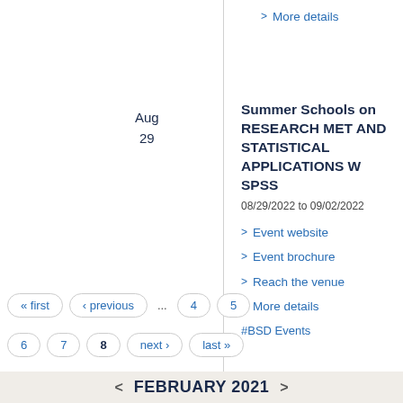> More details
Summer Schools on RESEARCH METHODS AND STATISTICAL APPLICATIONS WITH SPSS
08/29/2022 to 09/02/2022
> Event website
> Event brochure
> Reach the venue
> More details
#BSD Events
« first  ‹ previous  ...  4  5  6  7  8  next ›  last »  < FEBRUARY 2021 >